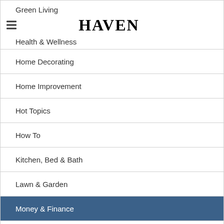Green Living
Health & Wellness
Home Decorating
Home Improvement
Hot Topics
How To
Kitchen, Bed & Bath
Lawn & Garden
Money & Finance
Pets
Prnewswire